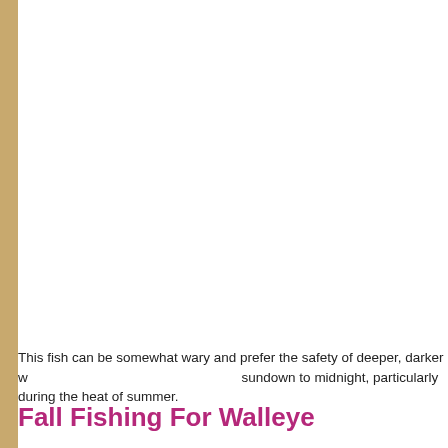This fish can be somewhat wary and prefer the safety of deeper, darker water, making them most active from sundown to midnight, particularly during the heat of summer.
Fall Fishing For Walleye